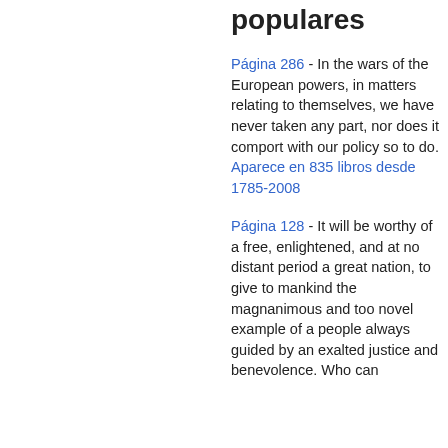populares
Página 286 - In the wars of the European powers, in matters relating to themselves, we have never taken any part, nor does it comport with our policy so to do. Aparece en 835 libros desde 1785-2008
Página 128 - It will be worthy of a free, enlightened, and at no distant period a great nation, to give to mankind the magnanimous and too novel example of a people always guided by an exalted justice and benevolence. Who can